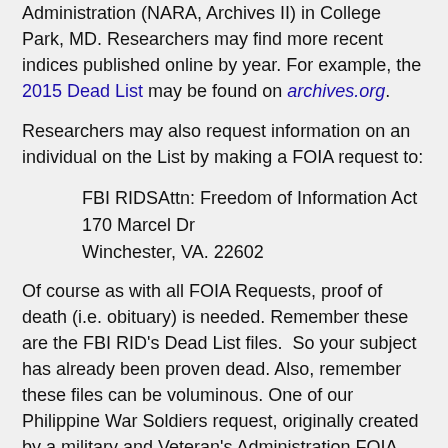Administration (NARA, Archives II) in College Park, MD. Researchers may find more recent indices published online by year. For example, the 2015 Dead List may be found on archives.org.
Researchers may also request information on an individual on the List by making a FOIA request to:
FBI RIDSAttn: Freedom of Information Act
170 Marcel Dr
Winchester, VA. 22602
Of course as with all FOIA Requests, proof of death (i.e. obituary) is needed. Remember these are the FBI RID's Dead List files.  So your subject has already been proven dead. Also, remember these files can be voluminous. One of our Philippine War Soldiers request, originally created by a military and Veteran's Administration FOIA, produced a file of over 600 pages. An issue carried on by his descendants had drawn the spying eye of the FBI. Keep in mind that just because the subject is deceased, his file may continue. In this case, the file was created and continued for decades. Yet, much was learned (or supposed) of his life